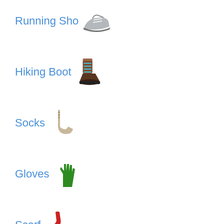Running Sho 👟
Hiking Boot 🥾
Socks 🧦
Gloves 🧤
Scarf 🧣
Top Hat 🎩
Billed Cap 🧢
Woman's H 👒